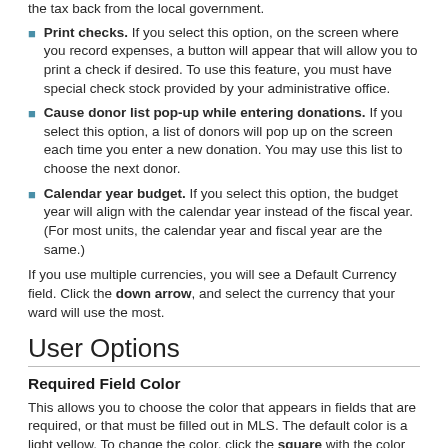the tax back from the local government.
Print checks. If you select this option, on the screen where you record expenses, a button will appear that will allow you to print a check if desired. To use this feature, you must have special check stock provided by your administrative office.
Cause donor list pop-up while entering donations. If you select this option, a list of donors will pop up on the screen each time you enter a new donation. You may use this list to choose the next donor.
Calendar year budget. If you select this option, the budget year will align with the calendar year instead of the fiscal year. (For most units, the calendar year and fiscal year are the same.)
If you use multiple currencies, you will see a Default Currency field. Click the down arrow, and select the currency that your ward will use the most.
User Options
Required Field Color
This allows you to choose the color that appears in fields that are required, or that must be filled out in MLS. The default color is a light yellow. To change the color, click the square with the color you want. The color appears in the sample field to the right.